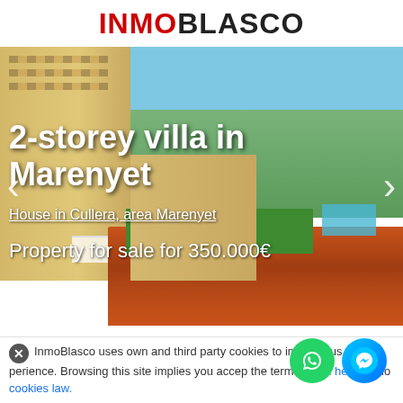[Figure (logo): INMOBLASCO logo with INMO in red and BLASCO in dark/black, bold sans-serif]
[Figure (photo): 2-storey villa in Marenyet, Cullera. Exterior photo showing building on left, palm trees and garden in middle, tiled roof in foreground, blue sky background.]
2-storey villa in Marenyet
House in Cullera, area Marenyet
Property for sale for 350.000€
Beautiful renovated villa with 2 floors,
InmoBlasco uses own and third party cookies to improve user experience. Browsing this site implies you accep the terms. Click here to mo cookies law.
property has 537 square meters, with a